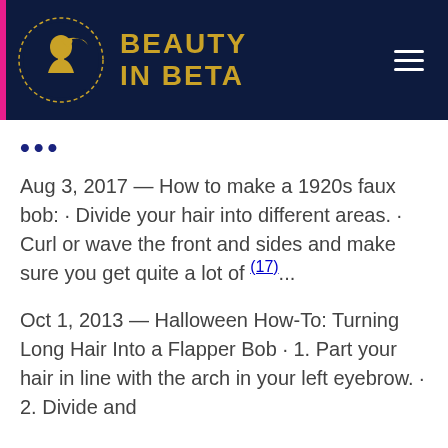BEAUTY IN BETA
•••
Aug 3, 2017 — How to make a 1920s faux bob: · Divide your hair into different areas. · Curl or wave the front and sides and make sure you get quite a lot of (17)...
Oct 1, 2013 — Halloween How-To: Turning Long Hair Into a Flapper Bob · 1. Part your hair in line with the arch in your left eyebrow. · 2. Divide and (18)...